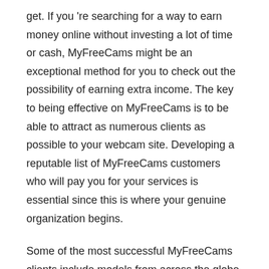get. If you 're searching for a way to earn money online without investing a lot of time or cash, MyFreeCams might be an exceptional method for you to check out the possibility of earning extra income. The key to being effective on MyFreeCams is to be able to attract as numerous clients as possible to your webcam site. Developing a reputable list of MyFreeCams customers who will pay you for your services is essential since this is where your genuine organization begins.
Some of the most successful MyFreeCams clients include models from across the globe that use MyFreeCams to promote themselves and their business. In this article, we 'll take a quick look at how he uses MyFreeCams to promote his clothes and how he relates to the principle of glamour modeling.
When using MyFreeCams to promote these personal programs, the models involved can pick to be featured in any one of three various “modules ” that make up the private show. A premium